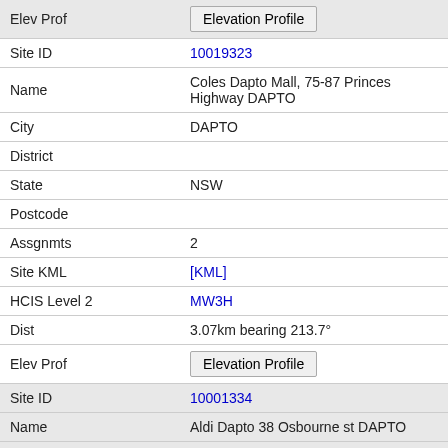| Field | Value |
| --- | --- |
| Elev Prof | Elevation Profile |
| Site ID | 10019323 |
| Name | Coles Dapto Mall, 75-87 Princes Highway DAPTO |
| City | DAPTO |
| District |  |
| State | NSW |
| Postcode |  |
| Assgnmts | 2 |
| Site KML | [KML] |
| HCIS Level 2 | MW3H |
| Dist | 3.07km bearing 213.7° |
| Elev Prof | Elevation Profile |
| Site ID | 10001334 |
| Name | Aldi Dapto 38 Osbourne st DAPTO |
| City | DAPTO |
| District |  |